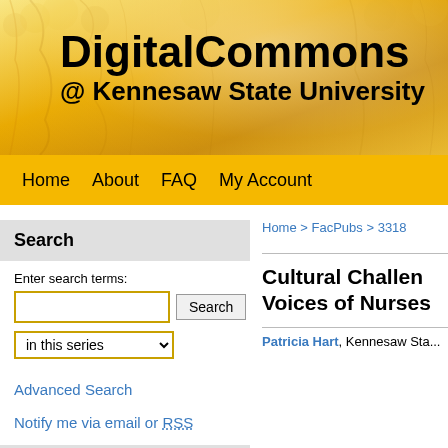[Figure (screenshot): DigitalCommons @ Kennesaw State University header banner with golden tree background]
DigitalCommons @ Kennesaw State University
Home   About   FAQ   My Account
Search
Enter search terms:
in this series
Advanced Search
Notify me via email or RSS
Links
University Library System
Home > FacPubs > 3318
Cultural Challen... Voices of Nurses...
Patricia Hart, Kennesaw Sta...